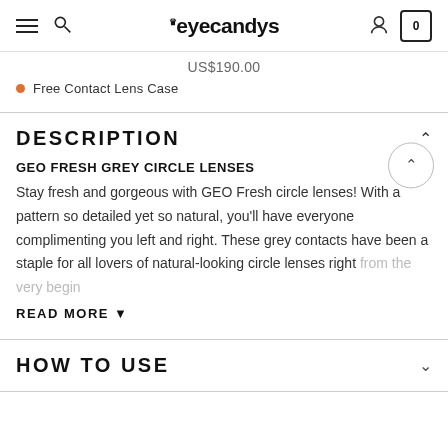eyecandys — navigation header with hamburger, search, logo, user, cart
US$190.00
Free Contact Lens Case
DESCRIPTION
GEO FRESH GREY CIRCLE LENSES
Stay fresh and gorgeous with GEO Fresh circle lenses! With a pattern so detailed yet so natural, you'll have everyone complimenting you left and right. These grey contacts have been a staple for all lovers of natural-looking circle lenses right from the very begin
READ MORE ▼
HOW TO USE